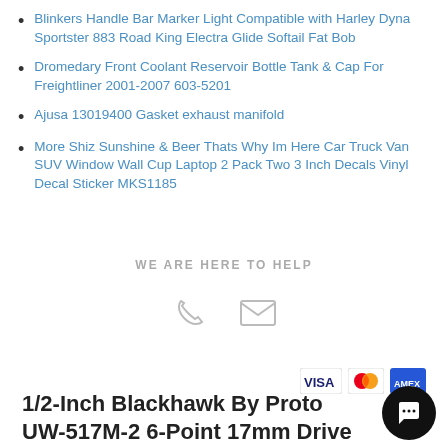Blinkers Handle Bar Marker Light Compatible with Harley Dyna Sportster 883 Road King Electra Glide Softail Fat Bob
Dromedary Front Coolant Reservoir Bottle Tank & Cap For Freightliner 2001-2007 603-5201
Ajusa 13019400 Gasket exhaust manifold
More Shiz Sunshine & Beer Thats Why Im Here Car Truck Van SUV Window Wall Cup Laptop 2 Pack Two 3 Inch Decals Vinyl Decal Sticker MKS1185
WE ARE HERE TO HELP
[Figure (infographic): Phone icon and email/envelope icon for contact]
[Figure (infographic): VISA, Mastercard, and American Express payment icons]
1/2-Inch Blackhawk By Proto UW-517M-2 6-Point 17mm Drive Deep Impact